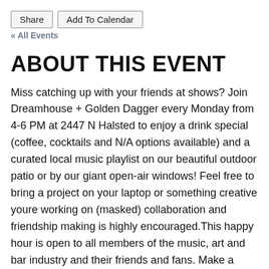Share | Add To Calendar
« All Events
ABOUT THIS EVENT
Miss catching up with your friends at shows? Join Dreamhouse + Golden Dagger every Monday from 4-6 PM at 2447 N Halsted to enjoy a drink special (coffee, cocktails and N/A options available) and a curated local music playlist on our beautiful outdoor patio or by our giant open-air windows! Feel free to bring a project on your laptop or something creative youre working on (masked) collaboration and friendship making is highly encouraged.This happy hour is open to all members of the music, art and bar industry and their friends and fans. Make a reservation HERE to secure a spot on our patio. Scroll our calendar listings and select the Patio Reservations date you